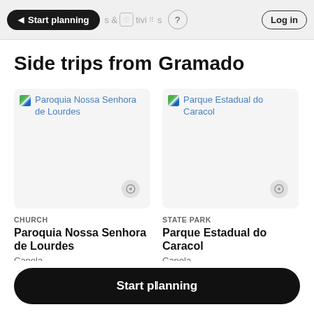Start planning | & Activities | ? | Log in
Side trips from Gramado
[Figure (screenshot): Card image placeholder for Paroquia Nossa Senhora de Lourdes with broken image icon link text in blue]
CHURCH
Paroquia Nossa Senhora de Lourdes
Canela
[Figure (screenshot): Card image placeholder for Parque Estadual do Caracol with broken image icon link text in blue]
STATE PARK
Parque Estadual do Caracol
Canela
Start planning